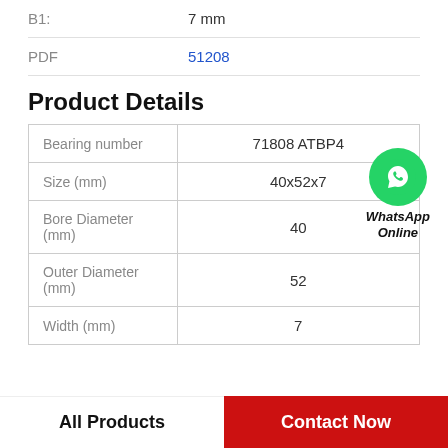| B1: | 7 mm |
| PDF | 51208 |
Product Details
|  |  |
| --- | --- |
| Bearing number | 71808 ATBP4 |
| Size (mm) | 40x52x7 |
| Bore Diameter (mm) | 40 |
| Outer Diameter (mm) | 52 |
| Width (mm) | 7 |
All Products
Contact Now